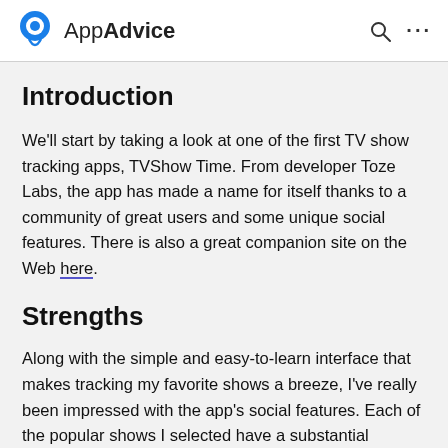AppAdvice
Introduction
We'll start by taking a look at one of the first TV show tracking apps, TVShow Time. From developer Toze Labs, the app has made a name for itself thanks to a community of great users and some unique social features. There is also a great companion site on the Web here.
Strengths
Along with the simple and easy-to-learn interface that makes tracking my favorite shows a breeze, I've really been impressed with the app's social features. Each of the popular shows I selected have a substantial community that comments about the latest episode, or even gives an opinion about earlier episodes. Easily my favorite feature is the